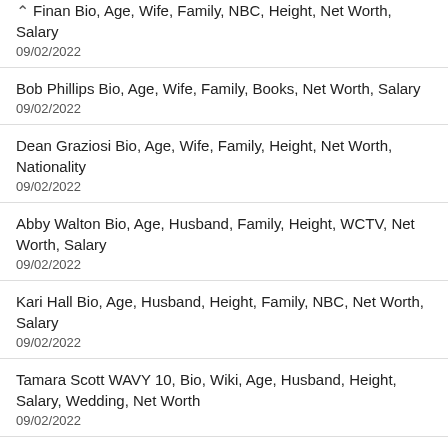Finan Bio, Age, Wife, Family, NBC, Height, Net Worth, Salary
09/02/2022
Bob Phillips Bio, Age, Wife, Family, Books, Net Worth, Salary
09/02/2022
Dean Graziosi Bio, Age, Wife, Family, Height, Net Worth, Nationality
09/02/2022
Abby Walton Bio, Age, Husband, Family, Height, WCTV, Net Worth, Salary
09/02/2022
Kari Hall Bio, Age, Husband, Height, Family, NBC, Net Worth, Salary
09/02/2022
Tamara Scott WAVY 10, Bio, Wiki, Age, Husband, Height, Salary, Wedding, Net Worth
09/02/2022
Victor Oquendo Bio, Age, Wife, Family, Height, Salary, ABC News, Net Worth